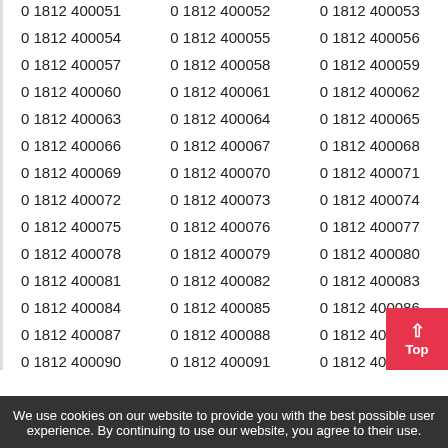| 0 1812 400051 | 0 1812 400052 | 0 1812 400053 |
| 0 1812 400054 | 0 1812 400055 | 0 1812 400056 |
| 0 1812 400057 | 0 1812 400058 | 0 1812 400059 |
| 0 1812 400060 | 0 1812 400061 | 0 1812 400062 |
| 0 1812 400063 | 0 1812 400064 | 0 1812 400065 |
| 0 1812 400066 | 0 1812 400067 | 0 1812 400068 |
| 0 1812 400069 | 0 1812 400070 | 0 1812 400071 |
| 0 1812 400072 | 0 1812 400073 | 0 1812 400074 |
| 0 1812 400075 | 0 1812 400076 | 0 1812 400077 |
| 0 1812 400078 | 0 1812 400079 | 0 1812 400080 |
| 0 1812 400081 | 0 1812 400082 | 0 1812 400083 |
| 0 1812 400084 | 0 1812 400085 | 0 1812 400086 |
| 0 1812 400087 | 0 1812 400088 | 0 1812 400089 |
| 0 1812 400090 | 0 1812 400091 | 0 1812 400092 |
| 0 1812 400093 | 0 1812 400094 | 0 1812 400095 |
| 0 1812 400096 | 0 1812 400097 | 0 1812 400098 |
We use cookies on our website to provide you with the best possible user experience. By continuing to use our website, you agree to their use.